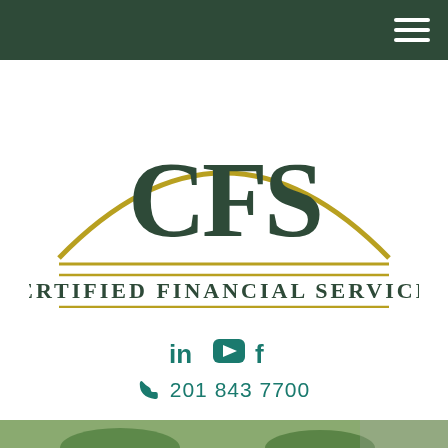Navigation header bar with hamburger menu
[Figure (logo): CFS Certified Financial Services logo with gold arch and dark green serif lettering]
in  [youtube icon]  f
201 843 7700
[Figure (photo): Photo of a person near potted plants, partially visible at the bottom of the page]